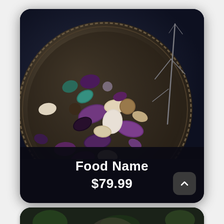[Figure (photo): Dark moody food photography: overhead view of a round antique silver/bronze plate filled with colorful gemstone-like candies or potatoes (purple, cream, teal, brown hues). A bare decorative twig/branch rests to the right on the dark navy background.]
Food Name
$79.99